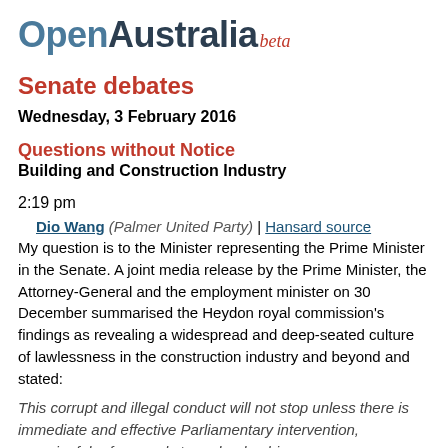OpenAustralia beta
Senate debates
Wednesday, 3 February 2016
Questions without Notice
Building and Construction Industry
2:19 pm
Dio Wang (Palmer United Party) | Hansard source
My question is to the Minister representing the Prime Minister in the Senate. A joint media release by the Prime Minister, the Attorney-General and the employment minister on 30 December summarised the Heydon royal commission's findings as revealing a widespread and deep-seated culture of lawlessness in the construction industry and beyond and stated:
This corrupt and illegal conduct will not stop unless there is immediate and effective Parliamentary intervention, meaningful reform and strong leadership.
A question about the document visible at bottom (cut off)